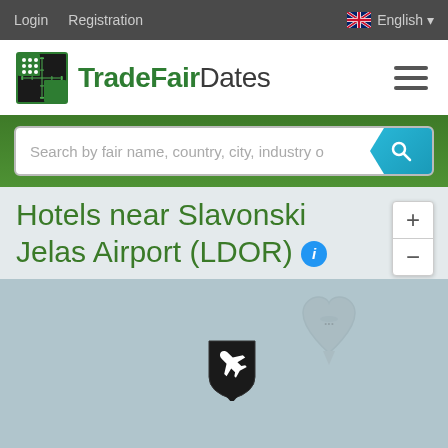Login  Registration  English
[Figure (logo): TradeFairDates logo with globe icon on the left and hamburger menu on the right]
[Figure (screenshot): Search bar with placeholder text: Search by fair name, country, city, industry c — with a teal search button]
Hotels near Slavonski Jelas Airport (LDOR)
[Figure (map): Map of area near Slavonski Jelas Airport (LDOR) showing airport marker icon on a light blue-grey map background]